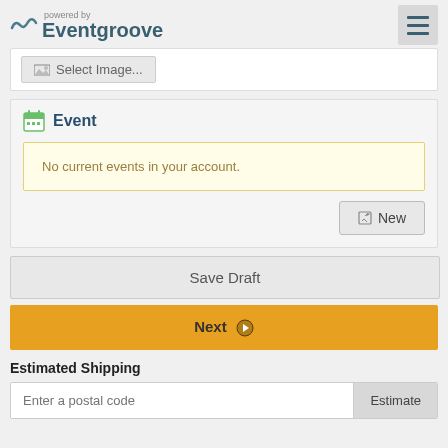powered by Eventgroove
[Figure (screenshot): Select Image button in a white panel]
[Figure (screenshot): Event section card with calendar icon, 'No current events in your account.' alert box, and New button]
No current events in your account.
Save Draft
Next
Estimated Shipping
Enter a postal code
Estimate